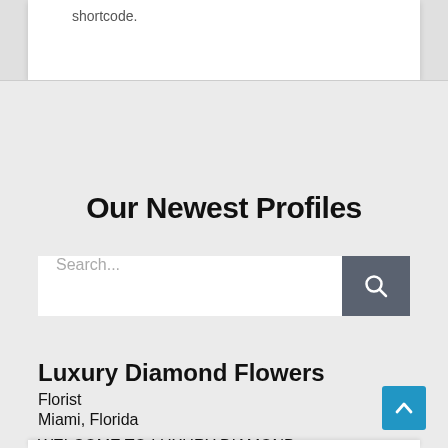shortcode.
Our Newest Profiles
Search...
Luxury Diamond Flowers
Florist
Miami, Florida
WELCOME TO LUXURY DIAMOND FLOWERS